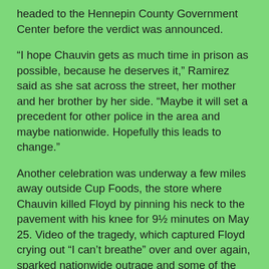headed to the Hennepin County Government Center before the verdict was announced.
“I hope Chauvin gets as much time in prison as possible, because he deserves it,” Ramirez said as she sat across the street, her mother and her brother by her side. “Maybe it will set a precedent for other police in the area and maybe nationwide. Hopefully this leads to change.”
Another celebration was underway a few miles away outside Cup Foods, the store where Chauvin killed Floyd by pinning his neck to the pavement with his knee for 9½ minutes on May 25. Video of the tragedy, which captured Floyd crying out “I can’t breathe” over and over again, sparked nationwide outrage and some of the biggest civil rights demonstrations in decades.